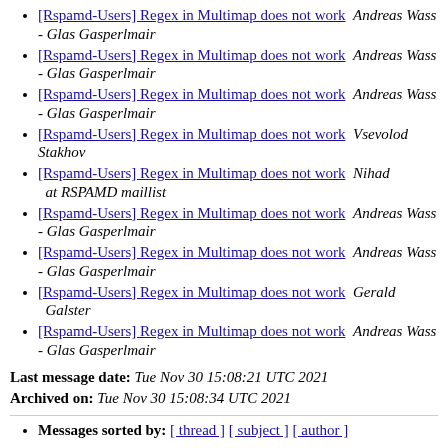[Rspamd-Users] Regex in Multimap does not work  Andreas Wass - Glas Gasperlmair
[Rspamd-Users] Regex in Multimap does not work  Andreas Wass - Glas Gasperlmair
[Rspamd-Users] Regex in Multimap does not work  Andreas Wass - Glas Gasperlmair
[Rspamd-Users] Regex in Multimap does not work  Vsevolod Stakhov
[Rspamd-Users] Regex in Multimap does not work  Nihad at RSPAMD maillist
[Rspamd-Users] Regex in Multimap does not work  Andreas Wass - Glas Gasperlmair
[Rspamd-Users] Regex in Multimap does not work  Andreas Wass - Glas Gasperlmair
[Rspamd-Users] Regex in Multimap does not work  Gerald Galster
[Rspamd-Users] Regex in Multimap does not work  Andreas Wass - Glas Gasperlmair
Last message date: Tue Nov 30 15:08:21 UTC 2021
Archived on: Tue Nov 30 15:08:34 UTC 2021
Messages sorted by: [ thread ] [ subject ] [ author ]
More info on this list...